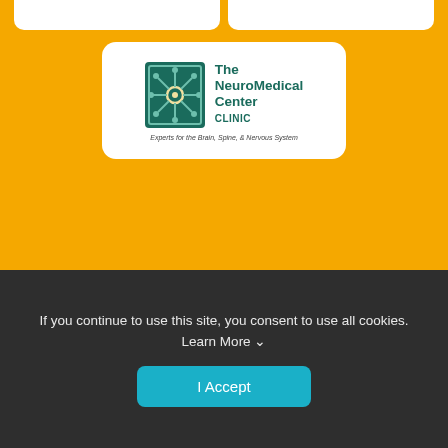[Figure (logo): The NeuroMedical Center Clinic logo — stylized neuron in teal square with text 'The NeuroMedical Center CLINIC, Experts for the Brain, Spine, & Nervous System']
[Figure (logo): Mississippi Gulf Coast Marathon logo — orange and teal crab above sun, text 'MISSISSIPPI GULF COAST MARATHON 26.2 · 13.1 · 3.1 KIDS']
Race Info
If you continue to use this site, you consent to use all cookies. Learn More
I Accept